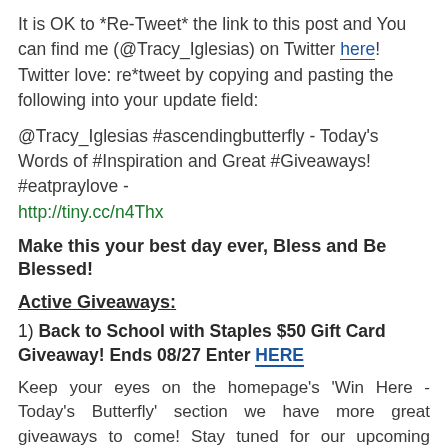It is OK to *Re-Tweet* the link to this post and You can find me (@Tracy_Iglesias) on Twitter here! Twitter love: re*tweet by copying and pasting the following into your update field:
@Tracy_Iglesias #ascendingbutterfly - Today's Words of #Inspiration and Great #Giveaways! #eatpraylove - http://tiny.cc/n4Thx
Make this your best day ever, Bless and Be Blessed!
Active Giveaways:
1) Back to School with Staples $50 Gift Card Giveaway! Ends 08/27 Enter HERE
Keep your eyes on the homepage's 'Win Here - Today's Butterfly' section we have more great giveaways to come! Stay tuned for our upcoming Smashbox giveaway, the return of our Book Club, and the return of our special Handbags feature, whose name has now changed with the upcoming new season, so keep an eye out for 'Fall into Bags' coming